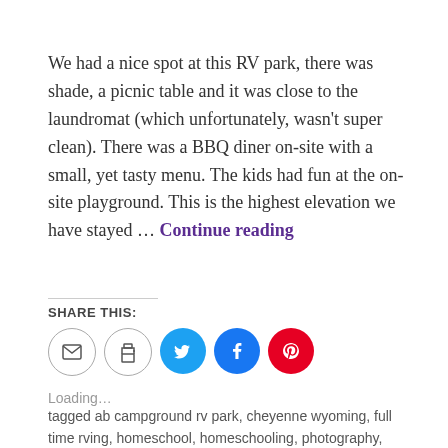We had a nice spot at this RV park, there was shade, a picnic table and it was close to the laundromat (which unfortunately, wasn't super clean). There was a BBQ diner on-site with a small, yet tasty menu. The kids had fun at the on-site playground. This is the highest elevation we have stayed … Continue reading
SHARE THIS:
[Figure (infographic): Social share icons: email (grey circle), print (grey circle), Twitter (blue circle with bird), Facebook (blue circle with f), Pinterest (red circle with P)]
Loading…
tagged ab campground rv park, cheyenne wyoming, full time rving, homeschool, homeschooling, photography, roadschooling, rv, rv living, rv park review, rv with kids